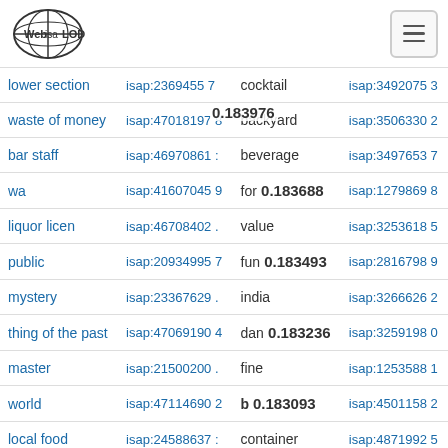Web isa LOD
| term | isap id | concept | score | isap id 2 |
| --- | --- | --- | --- | --- |
| lower section | isap:2369455 7 | cocktail |  | isap:3492075 3 |
| waste of money | isap:47018197 8 | backyard | 0.183976 | isap:3506330 2 |
| bar staff | isap:46970861 : | beverage |  | isap:3497653 7 |
| wa | isap:41607045 9 | for b | 0.183688 | isap:1279869 8 |
| liquor licen | isap:46708402 . | value |  | isap:3253618 5 |
| public | isap:20934995 7 | fun | 0.183493 | isap:2816798 9 |
| mystery | isap:23367629 . | india |  | isap:3266626 2 |
| thing of the past | isap:47069190 4 | dan | 0.183236 | isap:3259198 0 |
| master | isap:21500200 . | fine |  | isap:1253588 1 |
| world | isap:47114690 2 | b | 0.183093 | isap:4501158 2 |
| local food | isap:24588637 : | container |  | isap:4871992 5 |